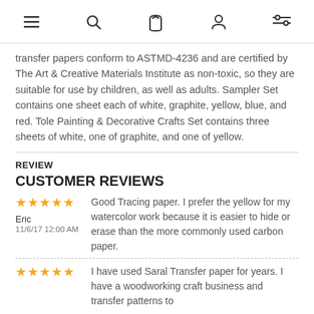Menu | Search | Bag | Account | Filter
transfer papers conform to ASTMD-4236 and are certified by The Art & Creative Materials Institute as non-toxic, so they are suitable for use by children, as well as adults. Sampler Set contains one sheet each of white, graphite, yellow, blue, and red. Tole Painting & Decorative Crafts Set contains three sheets of white, one of graphite, and one of yellow.
REVIEW
CUSTOMER REVIEWS
Good Tracing paper. I prefer the yellow for my watercolor work because it is easier to hide or erase than the more commonly used carbon paper. — Eric, 11/6/17 12:00 AM
I have used Saral Transfer paper for years. I have a woodworking craft business and transfer patterns to